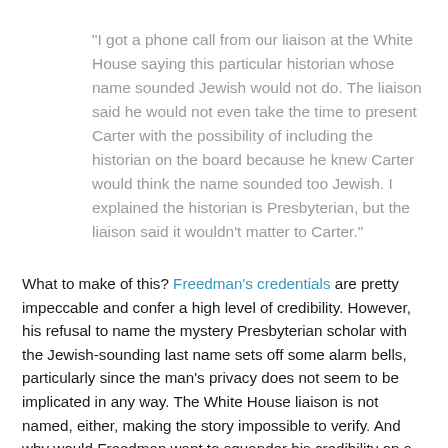"I got a phone call from our liaison at the White House saying this particular historian whose name sounded Jewish would not do. The liaison said he would not even take the time to present Carter with the possibility of including the historian on the board because he knew Carter would think the name sounded too Jewish. I explained the historian is Presbyterian, but the liaison said it wouldn't matter to Carter."
What to make of this? Freedman's credentials are pretty impeccable and confer a high level of credibility. However, his refusal to name the mystery Presbyterian scholar with the Jewish-sounding last name sets off some alarm bells, particularly since the man's privacy does not seem to be implicated in any way. The White House liaison is not named, either, making the story impossible to verify. And why would Freedman want to squander his credibility on a cyber-rag like WND? I plan to drop him a line and ask. Stay tuned.